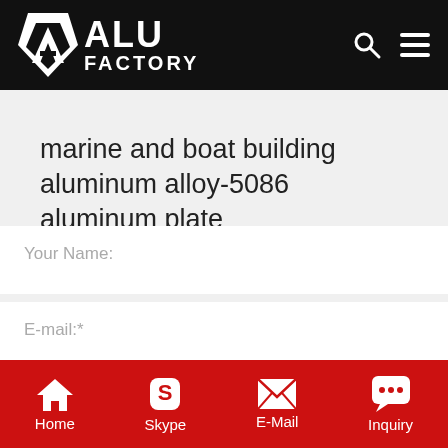[Figure (logo): ALU FACTORY logo on black header bar with search and menu icons]
marine and boat building aluminum alloy-5086 aluminum plate
Your Name:
E-mail:*
Content*
Home  Skype  E-Mail  Inquiry